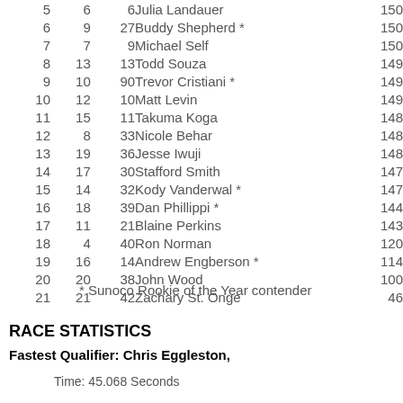| Pos | St | Car | Name | Laps |
| --- | --- | --- | --- | --- |
| 5 | 6 | 6 | Julia Landauer | 150 |
| 6 | 9 | 27 | Buddy Shepherd * | 150 |
| 7 | 7 | 9 | Michael Self | 150 |
| 8 | 13 | 13 | Todd Souza | 149 |
| 9 | 10 | 90 | Trevor Cristiani * | 149 |
| 10 | 12 | 10 | Matt Levin | 149 |
| 11 | 15 | 11 | Takuma Koga | 148 |
| 12 | 8 | 33 | Nicole Behar | 148 |
| 13 | 19 | 36 | Jesse Iwuji | 148 |
| 14 | 17 | 30 | Stafford Smith | 147 |
| 15 | 14 | 32 | Kody Vanderwal * | 147 |
| 16 | 18 | 39 | Dan Phillippi * | 144 |
| 17 | 11 | 21 | Blaine Perkins | 143 |
| 18 | 4 | 40 | Ron Norman | 120 |
| 19 | 16 | 14 | Andrew Engberson * | 114 |
| 20 | 20 | 38 | John Wood | 100 |
| 21 | 21 | 42 | Zachary St. Onge | 46 |
* Sunoco Rookie of the Year contender
RACE STATISTICS
Fastest Qualifier: Chris Eggleston,
Time: 45.068 Seconds